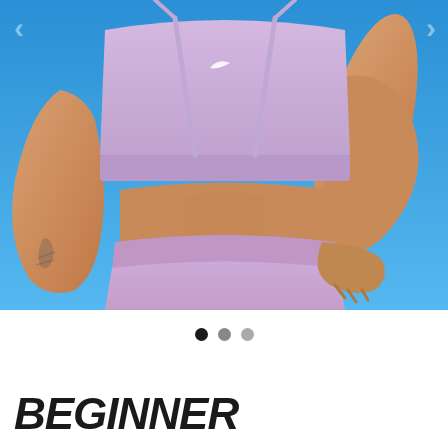[Figure (photo): Woman wearing a lavender/lilac Nike sports bra and matching high-waisted shorts, posing with hands on hips against a bright blue sky background. The photo shows her torso from approximately shoulder level to upper thigh. She has visible muscle definition and a tattoo on her left arm. A Nike swoosh logo is visible on the sports bra.]
● ● ●
BEGINNER